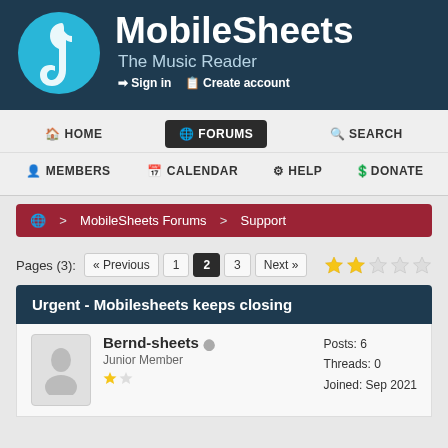[Figure (logo): MobileSheets logo with treble clef in blue circle and site name]
MobileSheets
The Music Reader
Sign in   Create account
HOME   FORUMS   SEARCH   MEMBERS   CALENDAR   HELP   DONATE
> MobileSheets Forums > Support
Pages (3):  « Previous  1  2  3  Next »
Urgent - Mobilesheets keeps closing
Bernd-sheets
Junior Member
Posts: 6
Threads: 0
Joined: Sep 2021